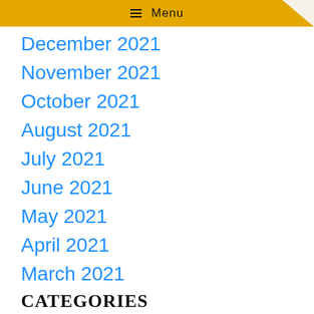Menu
December 2021
November 2021
October 2021
August 2021
July 2021
June 2021
May 2021
April 2021
March 2021
CATEGORIES
Affiliate Marketing